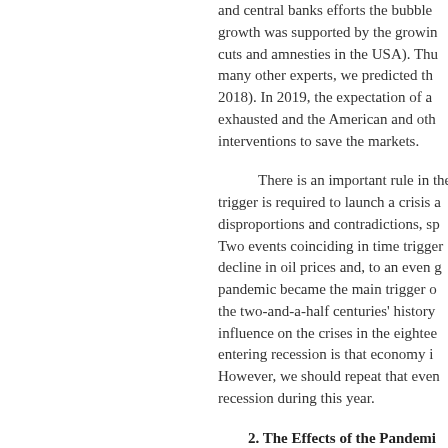and central banks efforts the bubble... growth was supported by the growing... cuts and amnesties in the USA). Thu... many other experts, we predicted th... 2018). In 2019, the expectation of a... exhausted and the American and oth... interventions to save the markets.
There is an important rule in the... trigger is required to launch a crisis a... disproportions and contradictions, sp... Two events coinciding in time trigger... decline in oil prices and, to an even g... pandemic became the main trigger o... the two-and-a-half centuries' history... influence on the crises in the eighteen... entering recession is that economy i... However, we should repeat that ever... recession during this year.
2. The Effects of the Pandemic... Year
In any case, the negative effect... preserve for a long time. In the seco... of new applications for unemployme...